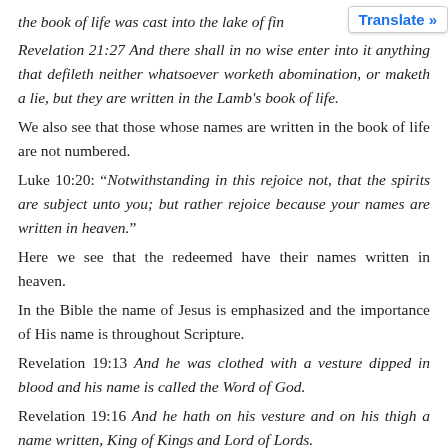the book of life was cast into the lake of fi[re.]
Revelation 21:27  And there shall in no wise enter into it anything that defileth neither whatsoever worketh abomination, or maketh a lie, but they are written in the Lamb’s book of life.
We also see that those whose names are written in the book of life are not numbered.
Luke 10:20: “Notwithstanding in this rejoice not, that the spirits are subject unto you; but rather rejoice because your names are written in heaven.”
Here we see that the redeemed have their names written in heaven.
In the Bible the name of Jesus is emphasized and the importance of His name is throughout Scripture.
Revelation 19:13  And he was clothed with a vesture dipped in blood and his name is called the Word of God.
Revelation 19:16  And he hath on his vesture and on his thi[gh a name written, King of Kings and Lord of Lords.]